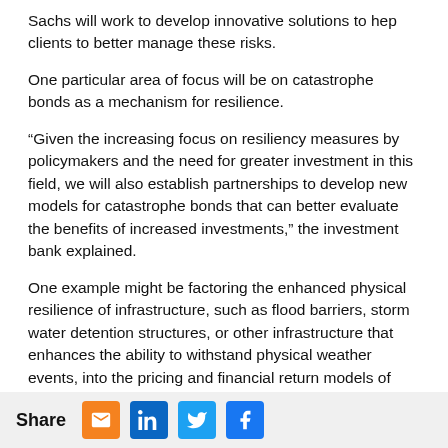Sachs will work to develop innovative solutions to hep clients to better manage these risks.
One particular area of focus will be on catastrophe bonds as a mechanism for resilience.
“Given the increasing focus on resiliency measures by policymakers and the need for greater investment in this field, we will also establish partnerships to develop new models for catastrophe bonds that can better evaluate the benefits of increased investments,” the investment bank explained.
One example might be factoring the enhanced physical resilience of infrastructure, such as flood barriers, storm water detention structures, or other infrastructure that enhances the ability to withstand physical weather events, into the pricing and financial return models of catastrophe bonds.
This is something Goldman Sachs has already been working on through its involvement in the RE:bound initiative, which looks to design and structure new risk transfer solutions that provide a
Share